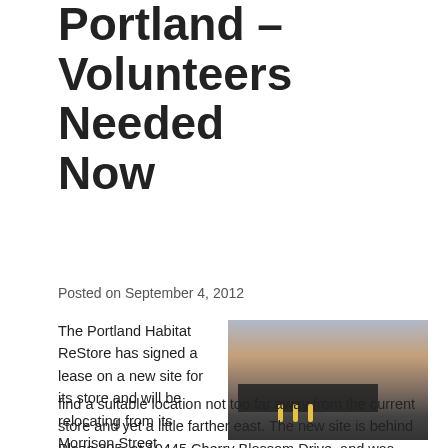Portland – Volunteers Needed Now
Posted on September 4, 2012
The Portland Habitat ReStore has signed a lease on a new site for its store and will be relocating from its Morrison Street address. It took about three years to find a suitable location not too far away from the current store and yet a little farther east. The new site is behind Plaza 205, at 10445 Cherry Blossom Drive, and was once a post office mail processing center.
[Figure (photo): Exterior of a large warehouse/commercial building with loading dock overhang, concrete facade, and yellow bollards in the parking lot.]
The new building is fully enclosed to give the store a controlled